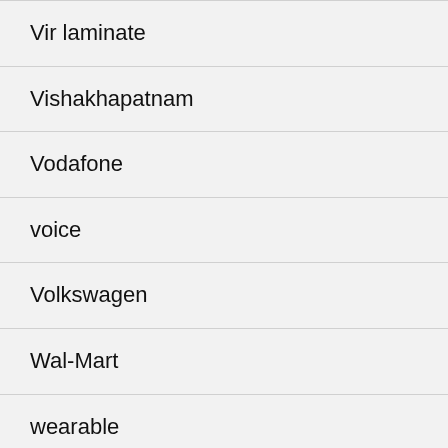Vir laminate
Vishakhapatnam
Vodafone
voice
Volkswagen
Wal-Mart
wearable
Web Programming